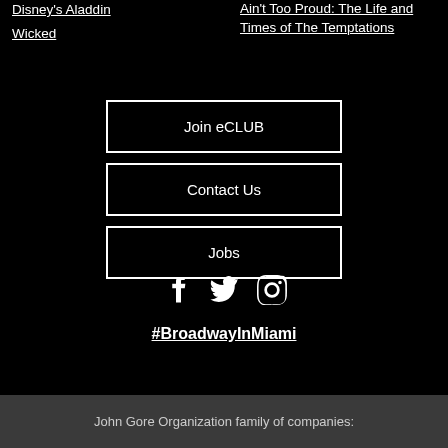Disney's Aladdin
Wicked
Ain't Too Proud: The Life and Times of The Temptations
Join eCLUB
Contact Us
Jobs
[Figure (other): Social media icons: Facebook, Twitter, Instagram]
#BroadwayInMiami
John Gore Organization family of companies: